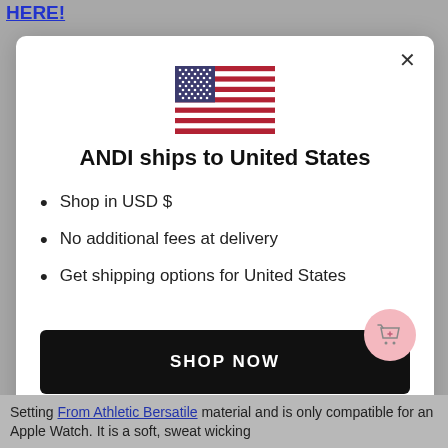HERE!
[Figure (illustration): US flag SVG illustration centered at top of modal]
ANDI ships to United States
Shop in USD $
No additional fees at delivery
Get shipping options for United States
SHOP NOW
CHANGE SHIPPING COUNTRY
Setting From Athletic Bersatile material and is only compatible for an Apple Watch. It is a soft, sweat wicking